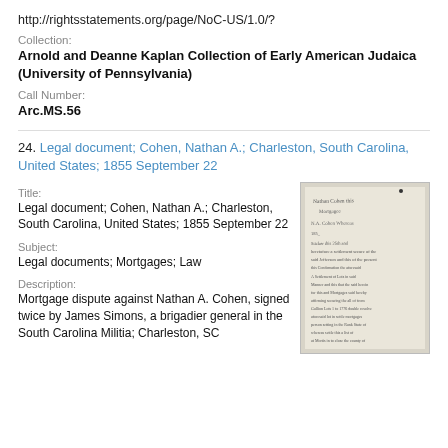http://rightsstatements.org/page/NoC-US/1.0/?
Collection:
Arnold and Deanne Kaplan Collection of Early American Judaica (University of Pennsylvania)
Call Number:
Arc.MS.56
24. Legal document; Cohen, Nathan A.; Charleston, South Carolina, United States; 1855 September 22
Title:
Legal document; Cohen, Nathan A.; Charleston, South Carolina, United States; 1855 September 22
Subject:
Legal documents; Mortgages; Law
Description:
Mortgage dispute against Nathan A. Cohen, signed twice by James Simons, a brigadier general in the South Carolina Militia; Charleston, SC
[Figure (photo): Scanned image of a historical handwritten legal document with cursive script text]